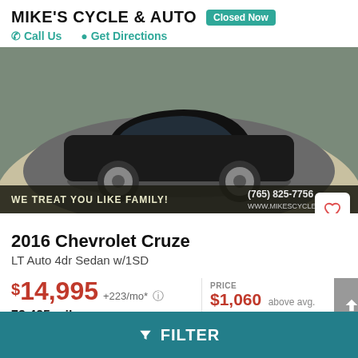MIKE'S CYCLE & AUTO
Closed Now
Call Us   Get Directions
[Figure (photo): Car dealership photo showing a dark-colored Chevrolet Cruze sedan on a circular display platform. Overlay text reads: WE TREAT YOU LIKE FAMILY! (765) 825-7756 WWW.MIKESCYCLEAND]
2016 Chevrolet Cruze
LT Auto 4dr Sedan w/1SD
$14,995 +223/mo*   PRICE $1,060 above avg.
73,425 miles   MILEAGE
FILTER